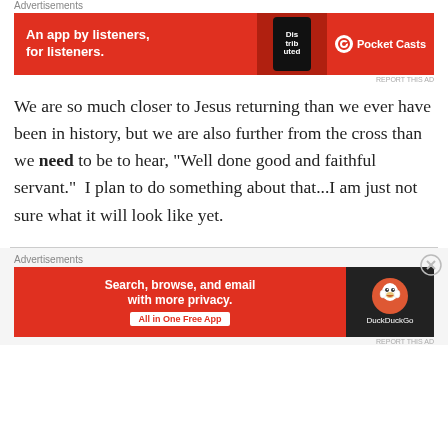Advertisements
[Figure (screenshot): Pocket Casts advertisement banner: red background with white text 'An app by listeners, for listeners.' with phone image and Pocket Casts logo]
We are so much closer to Jesus returning than we ever have been in history, but we are also further from the cross than we need to be to hear, “Well done good and faithful servant.”  I plan to do something about that...I am just not sure what it will look like yet.
Advertisements
[Figure (screenshot): DuckDuckGo advertisement banner: red background with white text 'Search, browse, and email with more privacy. All in One Free App' with DuckDuckGo logo on dark panel]